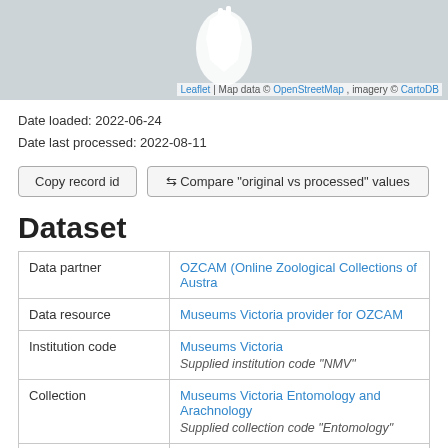[Figure (map): Greyed-out map area with a white silhouette shape (Australia) in the center, with Leaflet map attribution at bottom-right.]
Leaflet | Map data © OpenStreetMap, imagery © CartoDB
Date loaded: 2022-06-24
Date last processed: 2022-08-11
Copy record id
⇆ Compare "original vs processed" values
Dataset
|  |  |
| --- | --- |
| Data partner | OZCAM (Online Zoological Collections of Austra... |
| Data resource | Museums Victoria provider for OZCAM |
| Institution code | Museums Victoria
Supplied institution code "NMV" |
| Collection | Museums Victoria Entomology and Arachnology...
Supplied collection code "Entomology" |
| Catalog number | COL97410 |